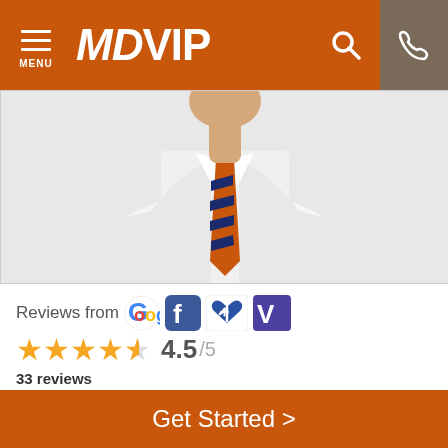MDVIP
[Figure (photo): Doctor in white shirt and striped orange/navy tie, upper body visible]
Reviews from [Google] [Facebook] [Healthgrades] [Vitals]
4.5 /5
33 reviews
Annual Membership Fee
QUARTERLY | SEMI-ANNUAL | ANNUAL
$450.00 every 3 months **
Get Started >